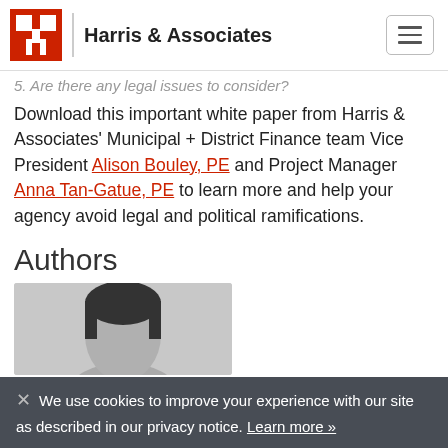Harris & Associates
5. Are there any legal issues to consider?
Download this important white paper from Harris & Associates' Municipal + District Finance team Vice President Alison Bouley, PE and Project Manager Anna Tan-Gatue, PE to learn more and help your agency avoid legal and political ramifications.
Authors
[Figure (photo): Black and white headshot photo of a person with dark hair]
We use cookies to improve your experience with our site as described in our privacy notice. Learn more »